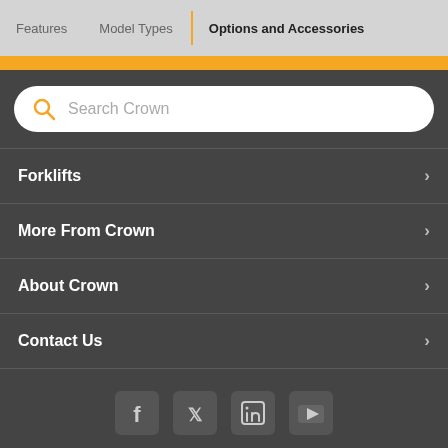Features | Model Types | Options and Accessories
[Figure (screenshot): Orange horizontal accent bar]
[Figure (screenshot): Search box with orange magnifying glass icon and placeholder text 'Search Crown']
Forklifts
More From Crown
About Crown
Contact Us
[Figure (infographic): Social media icons: Facebook, Twitter, LinkedIn, YouTube]
Brazil (change)
[Figure (infographic): Back to top button with upward arrow icon]